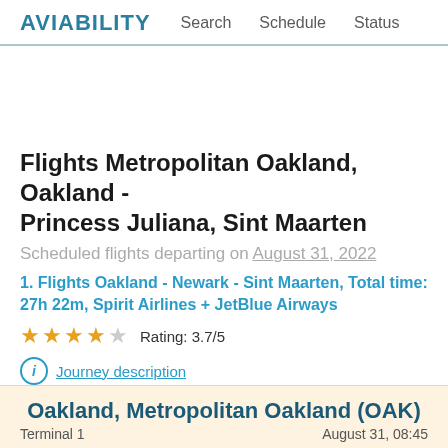AVIABILITY  Search  Schedule  Status
Flights Metropolitan Oakland, Oakland - Princess Juliana, Sint Maarten
Scheduled flights departing on August 31, 2022
1. Flights Oakland - Newark - Sint Maarten, Total time: 27h 22m, Spirit Airlines + JetBlue Airways
Rating: 3.7/5
Journey description
Oakland, Metropolitan Oakland (OAK)
Terminal 1    August 31, 08:45